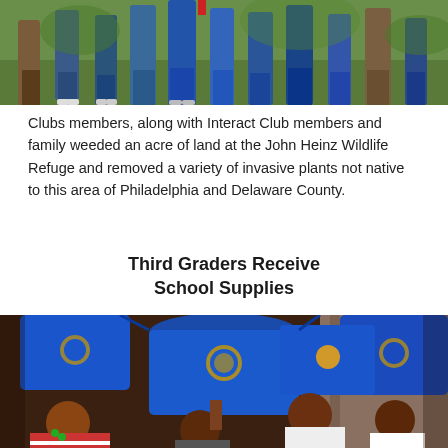[Figure (photo): Group of people standing outdoors on grass, partial view showing legs and lower bodies]
Clubs members, along with Interact Club members and family weeded an acre of land at the John Heinz Wildlife Refuge and removed a variety of invasive plants not native to this area of Philadelphia and Delaware County.
Third Graders Receive School Supplies
[Figure (photo): Third grade students holding up blue Rotary Club bags with school supplies, smiling and celebrating in a classroom setting]